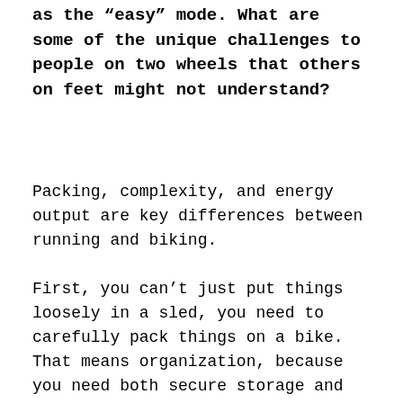as the “easy” mode. What are some of the unique challenges to people on two wheels that others on feet might not understand?
Packing, complexity, and energy output are key differences between running and biking.
First, you can’t just put things loosely in a sled, you need to carefully pack things on a bike. That means organization, because you need both secure storage and easy access. If something falls, it can get caught in various bike parts and end your ride pretty quickly. The first ultra I did my earbuds dropped in